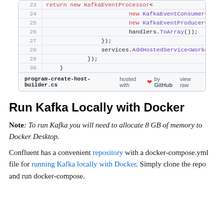[Figure (screenshot): Code block showing lines 23-30 of program-create-host-builder.cs with GitHub gist footer. Lines show C# code with new KafkaEventConsumer<int,, new KafkaEventProducer<int,, handlers.ToArray());, });, services.AddHostedService<Worker>(), });, }]
Run Kafka Locally with Docker
Note: To run Kafka you will need to allocate 8 GB of memory to Docker Desktop.
Confluent has a convenient repository with a docker-compose.yml file for running Kafka locally with Docker. Simply clone the repo and run docker-compose.